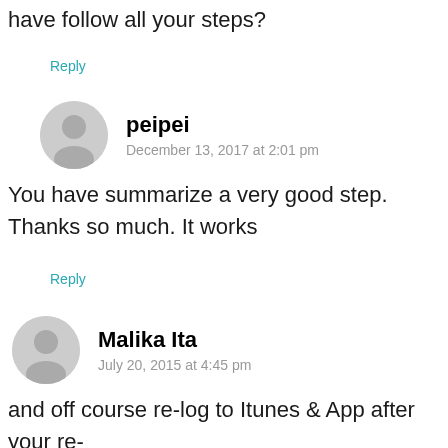have follow all your steps?
Reply
peipei
December 13, 2017 at 2:01 pm
You have summarize a very good step. Thanks so much. It works
Reply
Malika Ita
July 20, 2015 at 4:45 pm
and off course re-log to Itunes & App after your re-